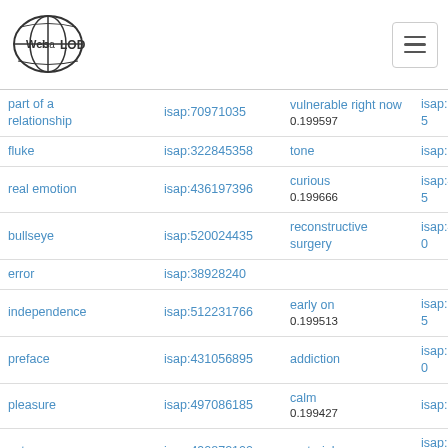Web isa LOD [logo] [hamburger menu]
| Term | ISAP ID | Related Term | ISAP ID |
| --- | --- | --- | --- |
| part of a relationship | isap:70971035 | vulnerable right now | isap:236171495 |
| fluke | isap:322845358 | tone | isap:230475757 |
| real emotion | isap:436197396 | curious 0.199666 | isap:430318095 |
| bullseye | isap:520024435 | reconstructive surgery | isap:437434240 |
| error | isap:389282840 |  |  |
| independence | isap:512231766 | early on 0.199513 | isap:308910935 |
| preface | isap:431056895 | addiction | isap:241536010 |
| pleasure | isap:497086185 | calm 0.199427 | isap:8671446 |
| category | isap:490872100 | material | isap:347044000 |
| blip | isap:757940145 | speaking 0.199286 | isap:344518160 |
| hoax | isap:762735895 | body language | isap:346332995 |